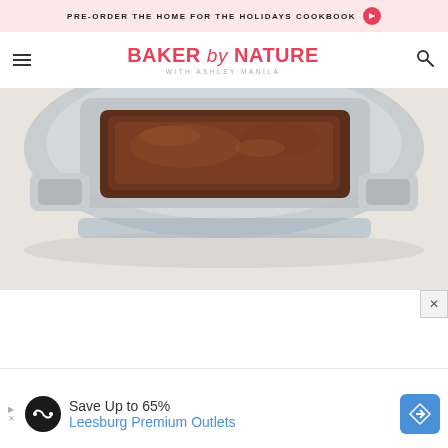PRE-ORDER THE HOME FOR THE HOLIDAYS COOKBOOK
[Figure (logo): Baker by Nature with Ashley Manila logo in red/pink text]
[Figure (photo): Top-down photo of a glass baking dish with baked chocolate dessert on a light stone/marble surface]
[Figure (infographic): Advertisement banner: Save Up to 65% Leesburg Premium Outlets with navigation arrow icon]